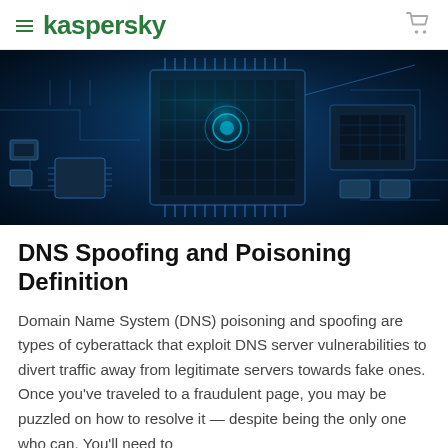kaspersky
[Figure (photo): Close-up photo of a circuit board with blue-lit microchip and electronic components]
DNS Spoofing and Poisoning Definition
Domain Name System (DNS) poisoning and spoofing are types of cyberattack that exploit DNS server vulnerabilities to divert traffic away from legitimate servers towards fake ones. Once you've traveled to a fraudulent page, you may be puzzled on how to resolve it — despite being the only one who can. You'll need to